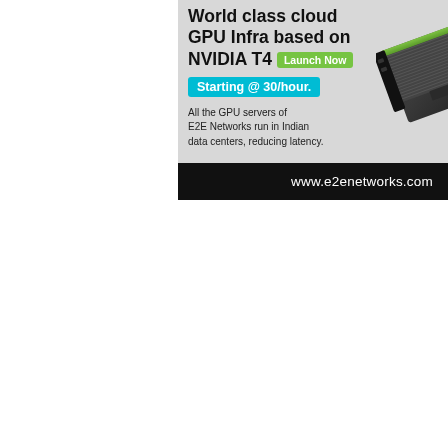[Figure (infographic): Advertisement for E2E Networks GPU cloud infrastructure based on NVIDIA T4. Shows bold headline text 'World Class Cloud GPU Infra based on NVIDIA T4' with a 'Launch Now' green button, 'Starting @ 30/hour.' cyan badge, body text 'All the GPU servers of E2E Networks run in Indian data centers, reducing latency.', an image of an NVIDIA T4 GPU card, and a black footer bar with 'www.e2enetworks.com'.]